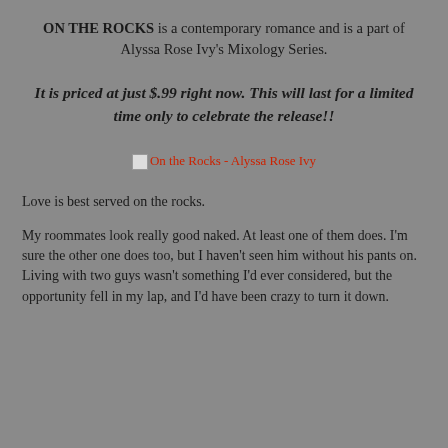ON THE ROCKS is a contemporary romance and is a part of Alyssa Rose Ivy's Mixology Series.
It is priced at just $.99 right now. This will last for a limited time only to celebrate the release!!
[Figure (other): Broken image placeholder for book cover: On the Rocks - Alyssa Rose Ivy]
Love is best served on the rocks.
My roommates look really good naked. At least one of them does. I'm sure the other one does too, but I haven't seen him without his pants on. Living with two guys wasn't something I'd ever considered, but the opportunity fell in my lap, and I'd have been crazy to turn it down.